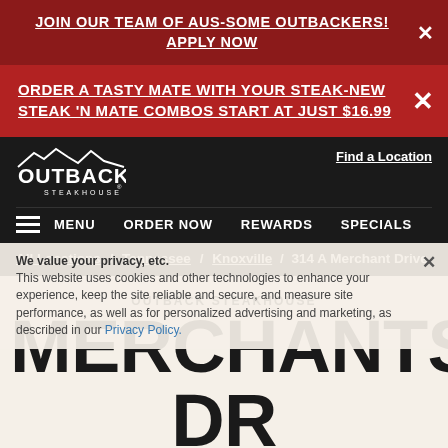JOIN OUR TEAM OF AUS-SOME OUTBACKERS! APPLY NOW
ORDER A TASTY MATE WITH YOUR STEAK-NEW STEAK 'N MATE COMBOS START AT JUST $16.99
[Figure (logo): Outback Steakhouse logo with mountain silhouette]
Find a Location
MENU  ORDER NOW  REWARDS  SPECIALS
All Locations / Tennessee / Knoxville / 314 A Merchant Drive
We value your privacy, etc. This website uses cookies and other technologies to enhance your experience, keep the site reliable and secure, and measure site performance, as well as for personalized advertising and marketing, as described in our Privacy Policy.
OUTBACK STEAKHOUSE
MERCHANTS DR